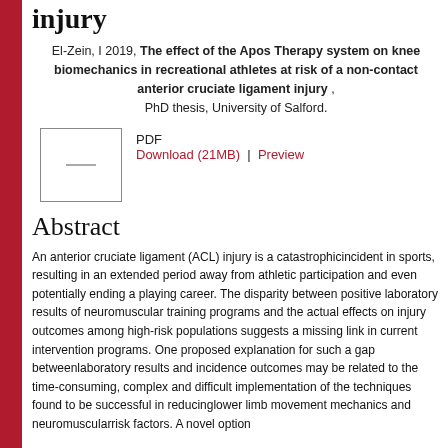injury
El-Zein, I 2019, The effect of the Apos Therapy system on knee biomechanics in recreational athletes at risk of a non-contact anterior cruciate ligament injury , PhD thesis, University of Salford.
[Figure (other): PDF thumbnail placeholder with a small dash/line in the center]
PDF
Download (21MB)  |  Preview
Abstract
An anterior cruciate ligament (ACL) injury is a catastrophicincident in sports, resulting in an extended period away from athletic participation and even potentially ending a playing career. The disparity between positive laboratory results of neuromuscular training programs and the actual effects on injury outcomes among high-risk populations suggests a missing link in current intervention programs. One proposed explanation for such a gap betweenlaboratory results and incidence outcomes may be related to the time-consuming, complex and difficult implementation of the techniques found to be successful in reducinglower limb movement mechanics and neuromuscularrisk factors. A novel option